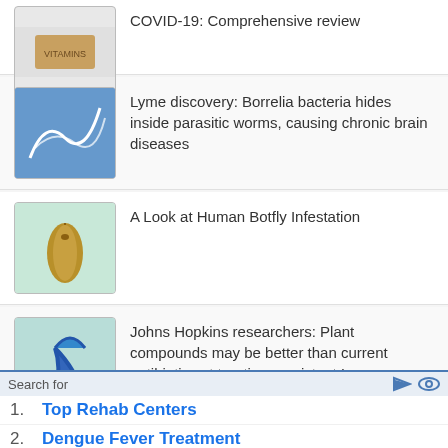COVID-19: Comprehensive review
Lyme discovery: Borrelia bacteria hides inside parasitic worms, causing chronic brain diseases
A Look at Human Botfly Infestation
Johns Hopkins researchers: Plant compounds may be better than current antibiotics at treating persistent Lyme bacteria
Lyme disease and other tickborne diseases in the US
How contagious is measles?
Search for
1. Top Rehab Centers
2. Dengue Fever Treatment